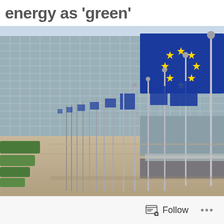energy as 'green'
[Figure (photo): European Commission building in Brussels with a row of EU flags on flagpoles in the foreground, showing the distinctive curved glass facade of the Berlaymont building. Green hedges are visible on the left, and the large EU flag with gold stars on blue background is prominently displayed in the upper right.]
Follow ...